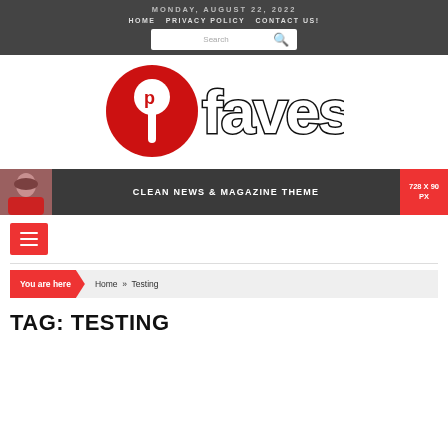MONDAY, AUGUST 22, 2022
HOME   PRIVACY POLICY   CONTACT US!
[Figure (logo): Faves website logo with Pinterest-style pin icon in red circle and stylized 'faves' text]
[Figure (infographic): Banner: woman photo on left, 'CLEAN NEWS & MAGAZINE THEME' text center on dark background, '728 X 90 PX' red box on right]
[Figure (other): Red hamburger menu button with three white lines]
You are here   Home » Testing
TAG: TESTING